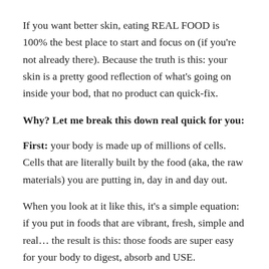If you want better skin, eating REAL FOOD is 100% the best place to start and focus on (if you're not already there). Because the truth is this: your skin is a pretty good reflection of what's going on inside your bod, that no product can quick-fix.
Why? Let me break this down real quick for you:
First: your body is made up of millions of cells. Cells that are literally built by the food (aka, the raw materials) you are putting in, day in and day out.
When you look at it like this, it's a simple equation: if you put in foods that are vibrant, fresh, simple and real… the result is this: those foods are super easy for your body to digest, absorb and USE.
All with...